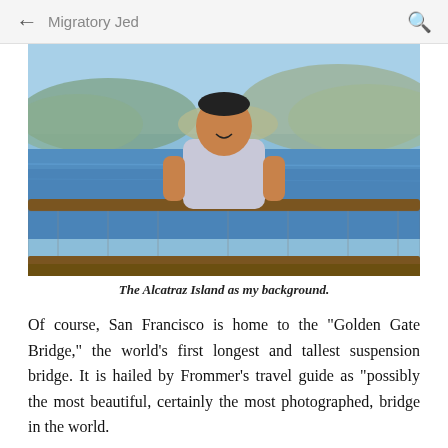← Migratory Jed 🔍
[Figure (photo): A man standing in front of a fence/railing at a waterfront, with Alcatraz Island visible in the background across San Francisco Bay. Clear blue sky, hills in the background.]
The Alcatraz Island as my background.
Of course, San Francisco is home to the "Golden Gate Bridge," the world's first longest and tallest suspension bridge. It is hailed by Frommer's travel guide as "possibly the most beautiful, certainly the most photographed, bridge in the world.